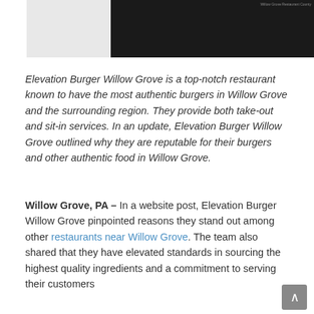[Figure (photo): Photo split into two parts: left portion showing a white container/cup, right portion showing a person in dark clothing against a dark background with watermark text]
Elevation Burger Willow Grove is a top-notch restaurant known to have the most authentic burgers in Willow Grove and the surrounding region. They provide both take-out and sit-in services. In an update, Elevation Burger Willow Grove outlined why they are reputable for their burgers and other authentic food in Willow Grove.
Willow Grove, PA – In a website post, Elevation Burger Willow Grove pinpointed reasons they stand out among other restaurants near Willow Grove. The team also shared that they have elevated standards in sourcing the highest quality ingredients and a commitment to serving their customers with the best types of food.